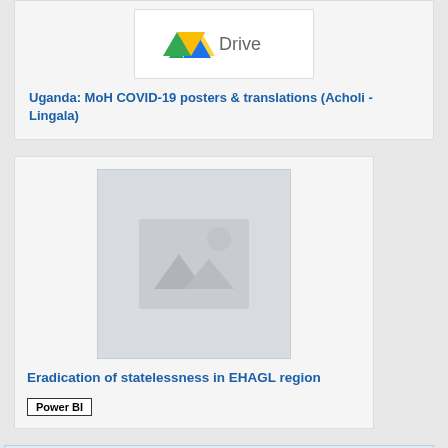[Figure (logo): Google Drive logo with triangle icon and word Drive]
Uganda: MoH COVID-19 posters & translations (Acholi - Lingala)
[Figure (photo): Placeholder image thumbnail with mountains and sun icon]
Eradication of statelessness in EHAGL region
Power BI
[Figure (screenshot): Partial view of a data table or dashboard at bottom of page]